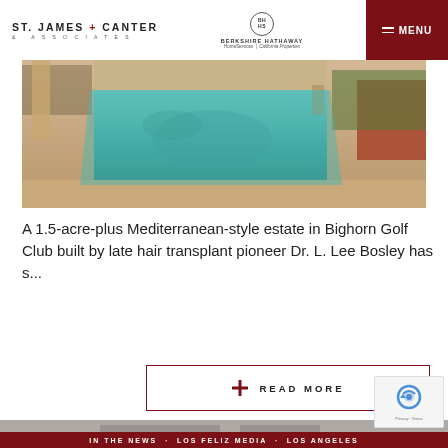ST. JAMES + CANTER & ASSOCIATES | BERKSHIRE HATHAWAY HomeServices | California Properties | MENU
[Figure (photo): Outdoor pool area of a Mediterranean-style estate with stone paving, lush red flowering plants and tropical greenery in the background]
A 1.5-acre-plus Mediterranean-style estate in Bighorn Golf Club built by late hair transplant pioneer Dr. L. Lee Bosley has s...
READ MORE
[Figure (photo): Partially visible gray-toned background image of a property]
IN THE NEWS · LOS FELIZ MEDIA · LOS ANGELES